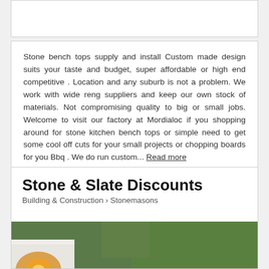Stone bench tops supply and install Custom made design suits your taste and budget, super affordable or high end competitive . Location and any suburb is not a problem. We work with wide reng suppliers and keep our own stock of materials. Not compromising quality to big or small jobs. Welcome to visit our factory at Mordialoc if you shopping around for stone kitchen bench tops or simple need to get some cool off cuts for your small projects or chopping boards for you Bbq . We do run custom... Read more
Stone & Slate Discounts
Building & Construction > Stonemasons
[Figure (photo): Outdoor stone paving and water feature with stepping stones, white rendered walls, warm accent lighting, and garden plants]